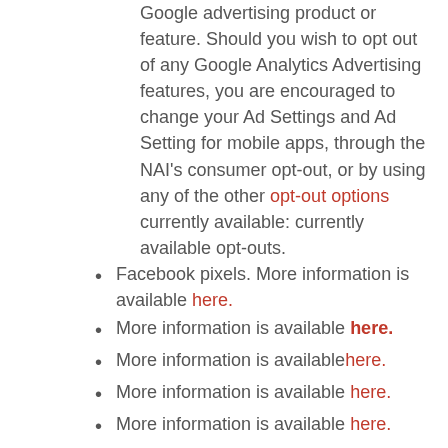Google advertising product or feature. Should you wish to opt out of any Google Analytics Advertising features, you are encouraged to change your Ad Settings and Ad Setting for mobile apps, through the NAI's consumer opt-out, or by using any of the other opt-out options currently available: currently available opt-outs.
Facebook pixels. More information is available here.
More information is available here.
More information is availablehere.
More information is available here.
More information is available here.
And rarely, to law enforcement…
We provide information to businesses or individuals in response to lawful court orders,